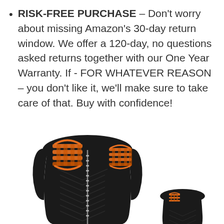RISK-FREE PURCHASE – Don't worry about missing Amazon's 30-day return window. We offer a 120-day, no questions asked returns together with our One Year Warranty. If - FOR WHATEVER REASON – you don't like it, we'll make sure to take care of that. Buy with confidence!
[Figure (photo): Product photo showing a black quilted heated vest with orange heating element graphics on the shoulders/back, with a zipper down the front. A smaller secondary view of the product is shown in the lower right.]